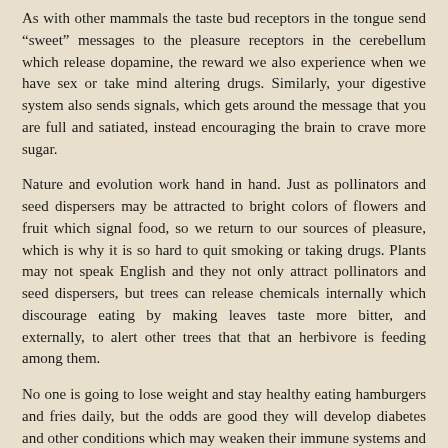As with other mammals the taste bud receptors in the tongue send "sweet" messages to the pleasure receptors in the cerebellum which release dopamine, the reward we also experience when we have sex or take mind altering drugs. Similarly, your digestive system also sends signals, which gets around the message that you are full and satiated, instead encouraging the brain to crave more sugar.
Nature and evolution work hand in hand. Just as pollinators and seed dispersers may be attracted to bright colors of flowers and fruit which signal food, so we return to our sources of pleasure, which is why it is so hard to quit smoking or taking drugs. Plants may not speak English and they not only attract pollinators and seed dispersers, but trees can release chemicals internally which discourage eating by making leaves taste more bitter, and externally, to alert other trees that that an herbivore is feeding among them.
No one is going to lose weight and stay healthy eating hamburgers and fries daily, but the odds are good they will develop diabetes and other conditions which may weaken their immune systems and leave them more vulnerable to disease, which has a dramatic impact on morbidity. In the language of COVID, people are dying not only because they are unvaccinated, but because they have serious often self-inflicted comorbidities working against recovering from COVID. In our politically correct culture, just as we see alcoholism and obesity as diseases, and while they can have a physiological basis, we are very reluctant to say that they can also be the result of a long series of poor choices.
Part of the problem is that many of us eat much more meat than is healthy